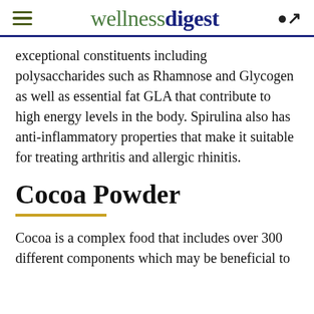wellnessdigest
exceptional constituents including polysaccharides such as Rhamnose and Glycogen as well as essential fat GLA that contribute to high energy levels in the body. Spirulina also has anti-inflammatory properties that make it suitable for treating arthritis and allergic rhinitis.
Cocoa Powder
Cocoa is a complex food that includes over 300 different components which may be beneficial to